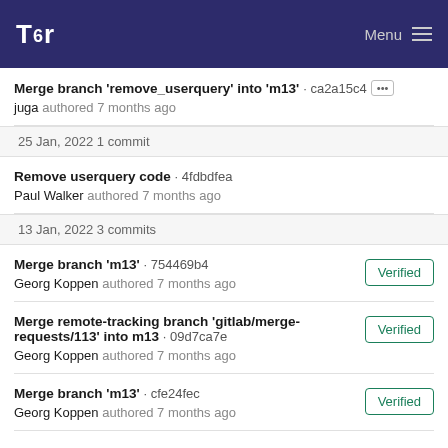Tor · Menu
Merge branch 'remove_userquery' into 'm13' · ca2a15c4 [···]
juga authored 7 months ago
25 Jan, 2022 1 commit
Remove userquery code · 4fdbdfea
Paul Walker authored 7 months ago
13 Jan, 2022 3 commits
Merge branch 'm13' · 754469b4
Georg Koppen authored 7 months ago  [Verified]
Merge remote-tracking branch 'gitlab/merge-requests/113' into m13 · 09d7ca7e
Georg Koppen authored 7 months ago  [Verified]
Merge branch 'm13' · cfe24fec
Georg Koppen authored 7 months ago  [Verified]